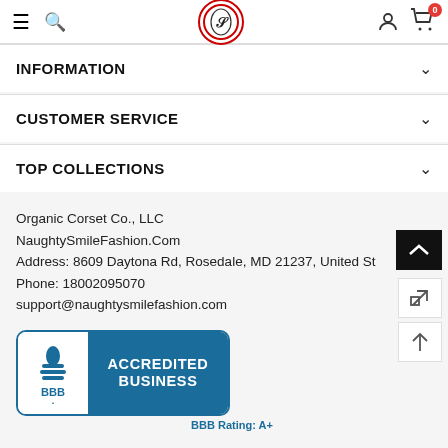Navigation bar with hamburger menu, search icon, logo, account icon, and cart (0)
INFORMATION
CUSTOMER SERVICE
TOP COLLECTIONS
Organic Corset Co., LLC
NaughtySmileFashion.Com
Address: 8609 Daytona Rd, Rosedale, MD 21237, United St
Phone: 18002095070
support@naughtysmilefashion.com
[Figure (logo): BBB Accredited Business badge with blue background and white text showing 'ACCREDITED BUSINESS' and 'BBB.' logo on white left panel]
BBB Rating: A+